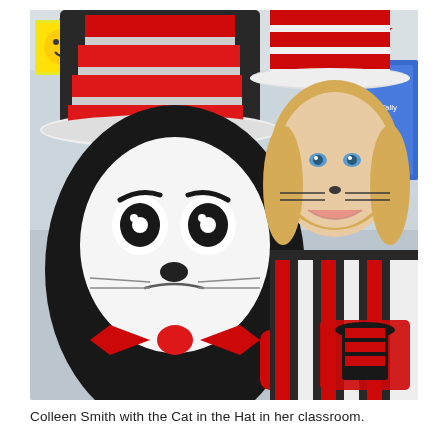[Figure (photo): A person in a Cat in the Hat costume (black and white cat mascot with red and white striped hat and red bow tie) posed next to a woman dressed in a matching Cat in the Hat outfit (red and white striped hat, red and white striped shirt, cat nose and whiskers face paint), smiling in a classroom setting.]
Colleen Smith with the Cat in the Hat in her classroom.